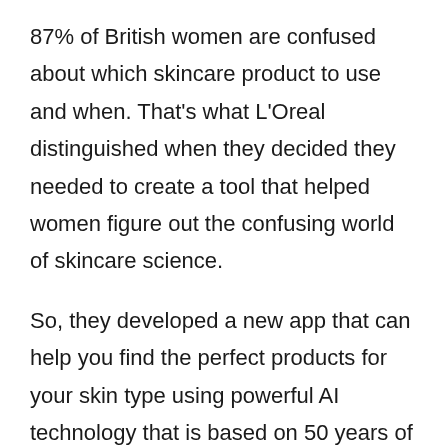87% of British women are confused about which skincare product to use and when. That's what L'Oreal distinguished when they decided they needed to create a tool that helped women figure out the confusing world of skincare science.
So, they developed a new app that can help you find the perfect products for your skin type using powerful AI technology that is based on 50 years of data development.
For data collection L'Oreal used 10,000 clinical images of women from Skin Atlas which was co-